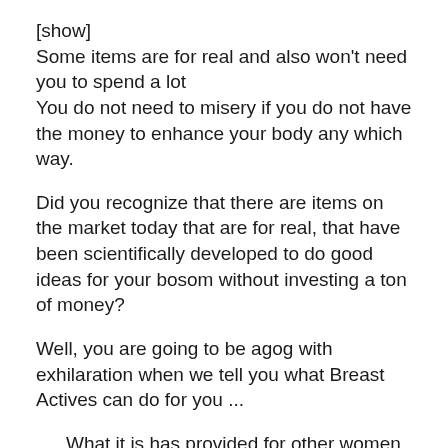[show]
Some items are for real and also won't need you to spend a lot
You do not need to misery if you do not have the money to enhance your body any which way.
Did you recognize that there are items on the market today that are for real, that have been scientifically developed to do good ideas for your bosom without investing a ton of money?
Well, you are going to be agog with exhilaration when we tell you what Breast Actives can do for you ...
What it is has provided for other women